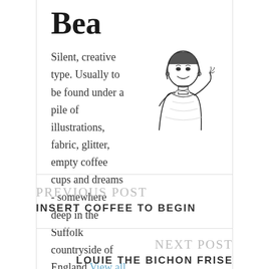Bea
Silent, creative type. Usually to be found under a pile of illustrations, fabric, glitter, empty coffee cups and dreams - somewhere deep in the Suffolk countryside of England View all posts by Bea
[Figure (illustration): Vintage retro black and white illustration of a smiling woman in 1950s style]
PREVIOUS POST
INSERT COFFEE TO BEGIN
NEXT POST
LOUIE the Bichon Frise